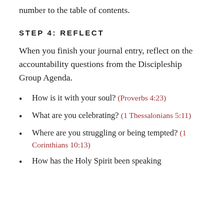number to the table of contents.
STEP 4: REFLECT
When you finish your journal entry, reflect on the accountability questions from the Discipleship Group Agenda.
How is it with your soul? (Proverbs 4:23)
What are you celebrating? (1 Thessalonians 5:11)
Where are you struggling or being tempted? (1 Corinthians 10:13)
How has the Holy Spirit been speaking